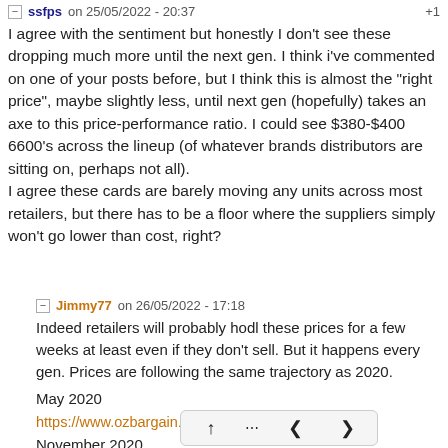ssfps on 25/05/2022 - 20:37  +1
I agree with the sentiment but honestly I don't see these dropping much more until the next gen. I think i've commented on one of your posts before, but I think this is almost the "right price", maybe slightly less, until next gen (hopefully) takes an axe to this price-performance ratio. I could see $380-$400 6600's across the lineup (of whatever brands distributors are sitting on, perhaps not all).
I agree these cards are barely moving any units across most retailers, but there has to be a floor where the suppliers simply won't go lower than cost, right?
Jimmy77 on 26/05/2022 - 17:18
Indeed retailers will probably hodl these prices for a few weeks at least even if they don't sell. But it happens every gen. Prices are following the same trajectory as 2020.
May 2020
https://www.ozbargain.com.au/node/541455
November 2020